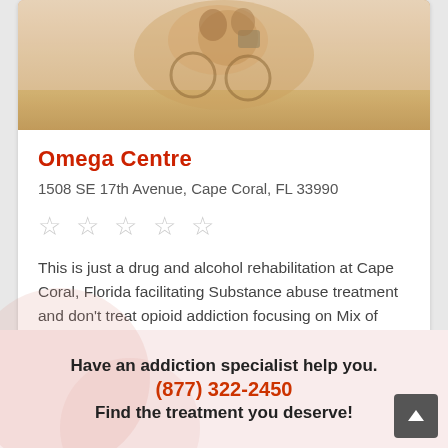[Figure (photo): Photo of people on bicycles, warm toned outdoor scene]
Omega Centre
1508 SE 17th Avenue, Cape Coral, FL 33990
[Figure (other): Five empty star rating icons]
This is just a drug and alcohol rehabilitation at Cape Coral, Florida facilitating Substance abuse treatment and don't treat opioid addiction focusing on Mix of both Mental Health and Substance Abus...
Have an addiction specialist help you.
(877) 322-2450
Find the treatment you deserve!